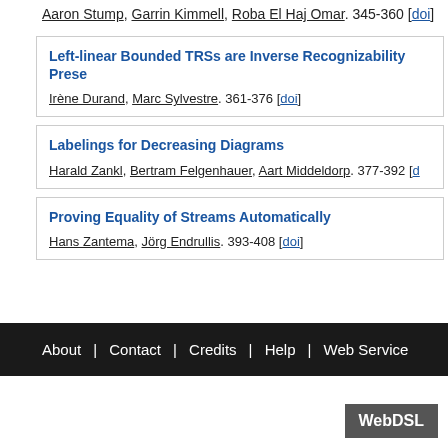Aaron Stump, Garrin Kimmell, Roba El Haj Omar. 345-360 [doi]
Left-linear Bounded TRSs are Inverse Recognizability Preserving
Irène Durand, Marc Sylvestre. 361-376 [doi]
Labelings for Decreasing Diagrams
Harald Zankl, Bertram Felgenhauer, Aart Middeldorp. 377-392 [doi]
Proving Equality of Streams Automatically
Hans Zantema, Jörg Endrullis. 393-408 [doi]
About | Contact | Credits | Help | Web Service
WebDSL